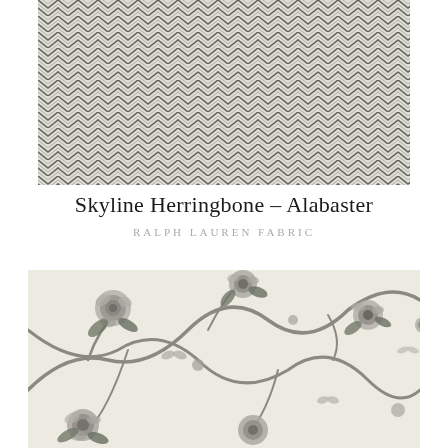[Figure (photo): Close-up of a herringbone zigzag patterned fabric in black and white/cream tones — Skyline Herringbone Alabaster by Ralph Lauren Fabric]
Skyline Herringbone – Alabaster
RALPH LAUREN FABRIC
[Figure (photo): Close-up of a floral toile fabric featuring roses, branches, and butterflies in grey tones on a cream/white background — Ralph Lauren Fabric]